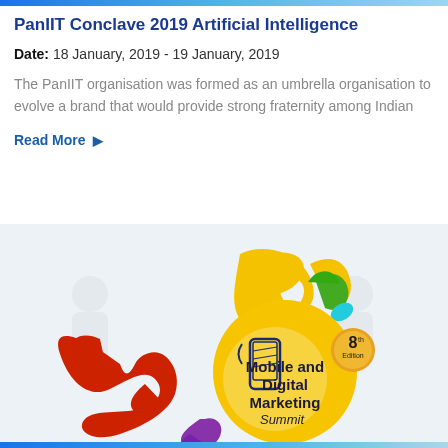PanIIT Conclave 2019 Artificial Intelligence
Date: 18 January, 2019 - 19 January, 2019
The PanIIT organisation was formed as an umbrella organisation to evolve a brand that would provide strong fraternity among Indian
Read More ▶
[Figure (logo): Mobile and Digital Marketing Summit 8th Edition logo with colorful paint splash design]